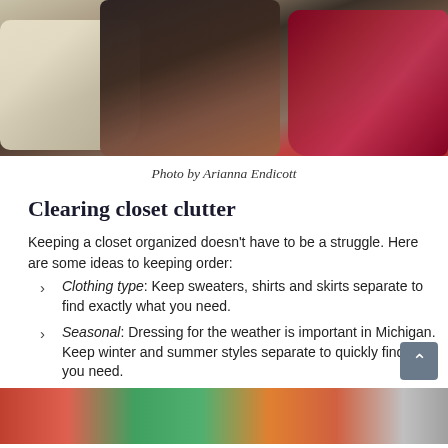[Figure (photo): Cluttered closet floor with multiple shoes (white sneakers, black shoes) and dark purses/bags piled together]
Photo by Arianna Endicott
Clearing closet clutter
Keeping a closet organized doesn’t have to be a struggle. Here are some ideas to keeping order:
Clothing type: Keep sweaters, shirts and skirts separate to find exactly what you need.
Seasonal: Dressing for the weather is important in Michigan. Keep winter and summer styles separate to quickly find what you need.
[Figure (photo): Colorful clothing hanging in an organized closet rod, visible at the bottom of the page]